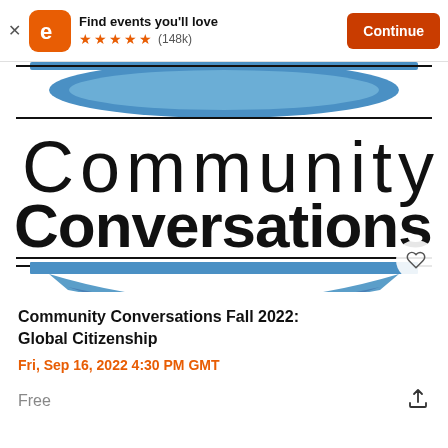Find events you'll love ★★★★★ (148k) Continue
[Figure (illustration): Community Conversations event banner with blue bowl graphic and text 'Community Conversations' in large mixed-weight black letters on white background]
Community Conversations Fall 2022: Global Citizenship
Fri, Sep 16, 2022 4:30 PM GMT
Free